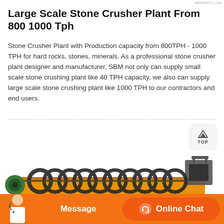8846309711.com
Large Scale Stone Crusher Plant From 800 1000 Tph
Stone Crusher Plant with Production capacity from 800TPH - 1000 TPH for hard rocks, stones, minerals. As a professional stone crusher plant designer and manufacturer, SBM not only can supply small scale stone crushing plant like 40 TPH capacity, we also can supply large scale stone crushing plant like 1000 TPH to our contractors and end users.
[Figure (photo): Industrial yellow screw/spiral classifier or sand washing machine with large spiral auger, mounted at an angle on a yellow trough frame, with a motor assembly at the back end. The machine is photographed against a white background.]
[Figure (other): Bottom navigation bar with orange background showing a customer service agent photo on the left, a 'Message' button in the center-left, and an 'Online Chat' button with headset icon on the right.]